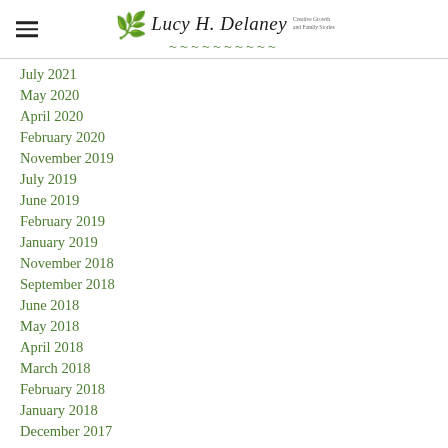Lucy H. Delaney — Creative Growth and Family Stories
July 2021
May 2020
April 2020
February 2020
November 2019
July 2019
June 2019
February 2019
January 2019
November 2018
September 2018
June 2018
May 2018
April 2018
March 2018
February 2018
January 2018
December 2017